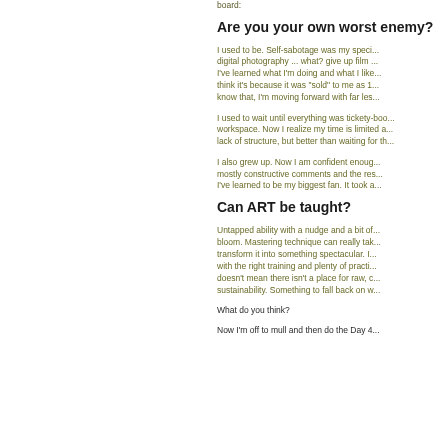board:
Are you your own worst enemy?
I used to be. Self-sabotage was my speci... digital photography ... what? give up film ... I've learned what I'm doing and what I like... think it's because it was "sold" to me as 1... know that, I'm moving forward with far les...
I used to wait until everything was tickety-boo... workspace. Now I realize my time is limited a... lack of structure, but better than waiting for th...
I also grew up. Now I am confident enoug... mostly constructive comments and the res... I've learned to be my biggest fan. It took a...
Can ART be taught?
Untapped ability with a nudge and a bit of... bloom. Mastering technique can really tak... transform it into something spectacular. I... with the right training and plenty of practi... doesn't mean there isn't a place for raw, c... sustainability. Something to fall back on w...
What do you think?
Now I'm off to mull and then do the Day 4...